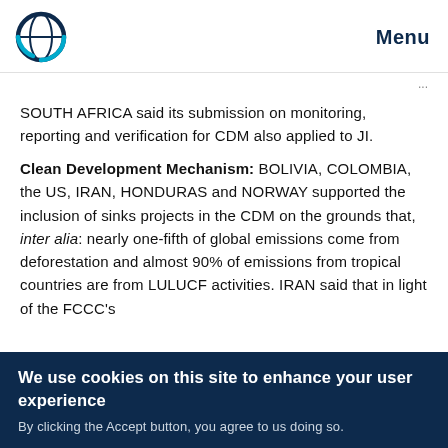Menu
SOUTH AFRICA said its submission on monitoring, reporting and verification for CDM also applied to JI.
Clean Development Mechanism: BOLIVIA, COLOMBIA, the US, IRAN, HONDURAS and NORWAY supported the inclusion of sinks projects in the CDM on the grounds that, inter alia: nearly one-fifth of global emissions come from deforestation and almost 90% of emissions from tropical countries are from LULUCF activities. IRAN said that in light of the FCCC's
We use cookies on this site to enhance your user experience
By clicking the Accept button, you agree to us doing so.